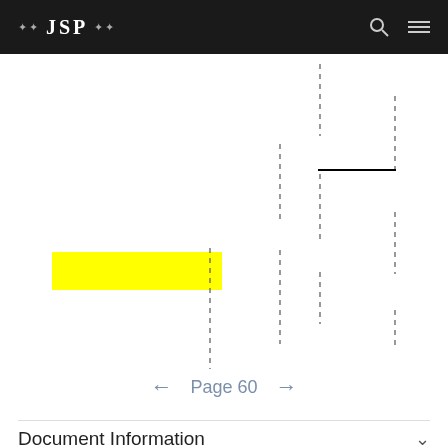JSP
[Figure (other): Partial document page view showing dashed vertical lines forming a staircase-like pattern with a solid horizontal line segment, and a yellow highlighted rectangle in the lower left portion of the document content area.]
← Page 60 →
Document Information